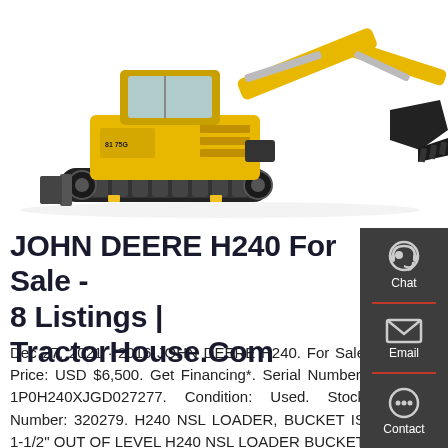[Figure (photo): Yellow John Deere H240 compact excavator/mini excavator shown from the side against a white background, with boom arm extended to the right]
JOHN DEERE H240 For Sale - 8 Listings | TractorHouse.Com
Dec 27, 2021 · 2016 JOHN DEERE H240. For Sale Price: USD $6,500. Get Financing*. Serial Number: 1P0H240XJGD027277. Condition: Used. Stock Number: 320279. H240 NSL LOADER, BUCKET IS 1-1/2" OUT OF LEVEL H240 NSL LOADER BUCKET IS 1-1/2" OUT OF LEVEL. Updated: Tue, Dec 28, 2021 10:48 AM.
[Figure (infographic): Dark grey side panel with three icons: Chat (headset icon), Email (envelope icon), and Contact (speech bubble icon)]